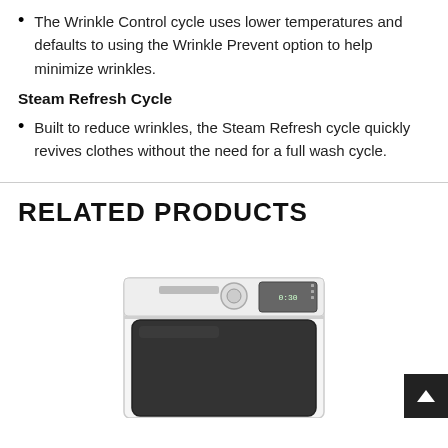The Wrinkle Control cycle uses lower temperatures and defaults to using the Wrinkle Prevent option to help minimize wrinkles.
Steam Refresh Cycle
Built to reduce wrinkles, the Steam Refresh cycle quickly revives clothes without the need for a full wash cycle.
RELATED PRODUCTS
[Figure (photo): A white top-loading washing machine with a dark lid viewed from above at an angle, showing the control panel with dial and digital display.]